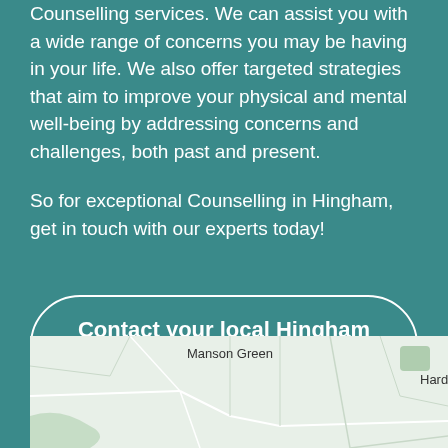Counselling services. We can assist you with a wide range of concerns you may be having in your life. We also offer targeted strategies that aim to improve your physical and mental well-being by addressing concerns and challenges, both past and present.

So for exceptional Counselling in Hingham, get in touch with our experts today!
Contact your local Hingham Counsellor
[Figure (map): Map showing Manson Green and Hardingham area with roads and green spaces]